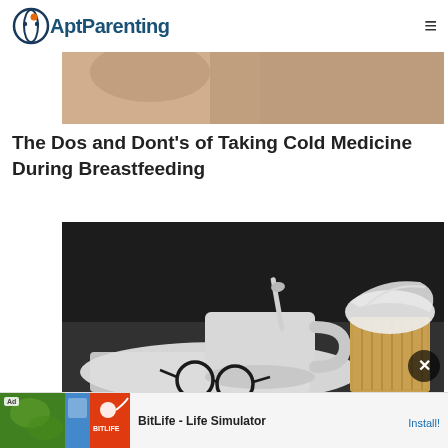AptParenting
[Figure (photo): Partial top image strip showing a person, cropped view from a previous article image]
The Dos and Dont’s of Taking Cold Medicine During Breastfeeding
[Figure (photo): Photo of a white mug with a spoon, glasses on white cloth/tissue, and a tissue box with white tissues on a dark background — a sick-day scene suggesting cold/flu]
[Figure (photo): Advertisement banner for BitLife - Life Simulator app with ad images and Install button]